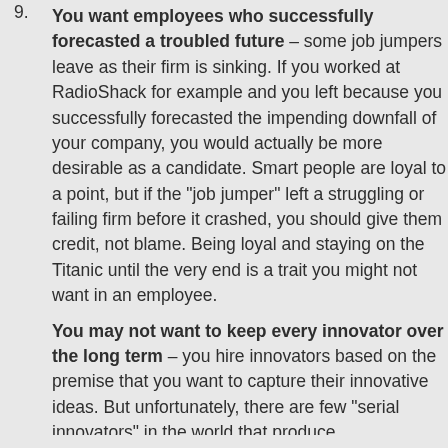9. You want employees who successfully forecasted a troubled future – some job jumpers leave as their firm is sinking. If you worked at RadioShack for example and you left because you successfully forecasted the impending downfall of your company, you would actually be more desirable as a candidate. Smart people are loyal to a point, but if the "job jumper" left a struggling or failing firm before it crashed, you should give them credit, not blame. Being loyal and staying on the Titanic until the very end is a trait you might not want in an employee.
10. You may not want to keep every innovator over the long term – you hire innovators based on the premise that you want to capture their innovative ideas. But unfortunately, there are few "serial innovators" in the world that produce...